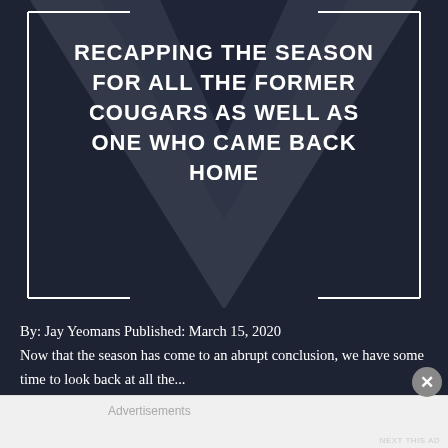[Figure (illustration): Dark navy background with large gray/dark downward-pointing triangle graphic and a border box containing the article title text in white uppercase letters]
RECAPPING THE SEASON FOR ALL THE FORMER COUGARS AS WELL AS ONE WHO CAME BACK HOME
By: Jay Yeomans Published: March 15, 2020 Now that the season has come to an abrupt conclusion, we have some time to look back at all the...
Advertisements